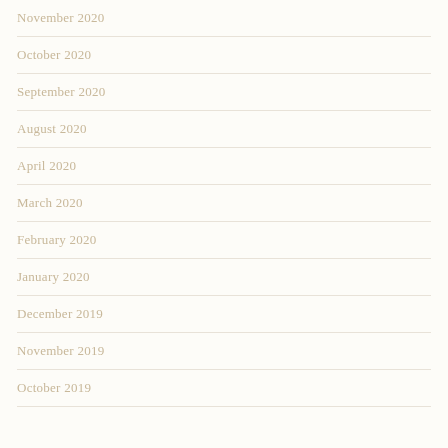November 2020
October 2020
September 2020
August 2020
April 2020
March 2020
February 2020
January 2020
December 2019
November 2019
October 2019